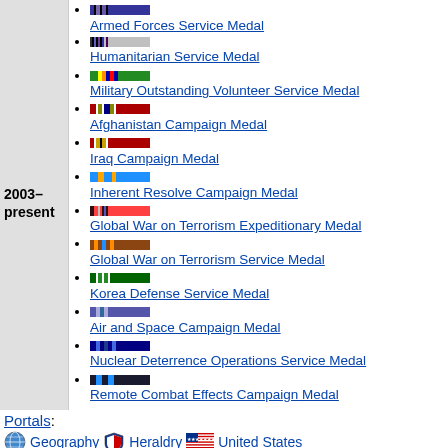2003–present
Armed Forces Service Medal
Humanitarian Service Medal
Military Outstanding Volunteer Service Medal
Afghanistan Campaign Medal
Iraq Campaign Medal
Inherent Resolve Campaign Medal
Global War on Terrorism Expeditionary Medal
Global War on Terrorism Service Medal
Korea Defense Service Medal
Air and Space Campaign Medal
Nuclear Deterrence Operations Service Medal
Remote Combat Effects Campaign Medal
Portals:
Geography   Heraldry   United States
Categories